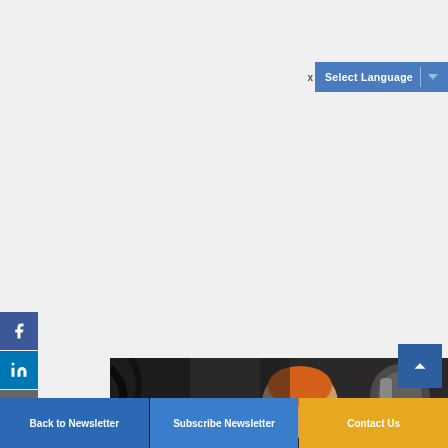[Figure (screenshot): Language selector widget with 'Select Language' text on blue background and dropdown arrow]
[Figure (photo): Worker in orange hard hat and ear protection working on industrial equipment]
Back to Newsletter | Subscribe Newsletter | Contact Us